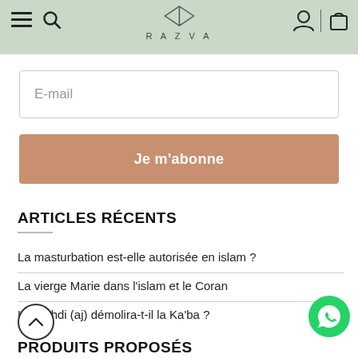RAZVA
E-mail
Je m'abonne
ARTICLES RÉCENTS
La masturbation est-elle autorisée en islam ?
La vierge Marie dans l'islam et le Coran
Le Mahdi (aj) démolira-t-il la Ka'ba ?
PRODUITS PROPOSÉS